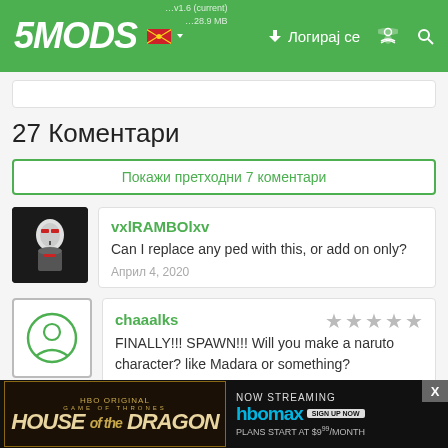5MODS — Логирај се
27 Коментари
Покажи претходни 7 коментари
vxlRAMBOlxv
Can I replace any ped with this, or add on only?
Април 4, 2020
chaaalks
FINALLY!!! SPAWN!!! Will you make a naruto character? like Madara or something?
Април 4, 2020
Dvterneel
[Figure (screenshot): HBO Max advertisement: House of the Dragon, Now Streaming on HBO Max, Plans start at $9/month]